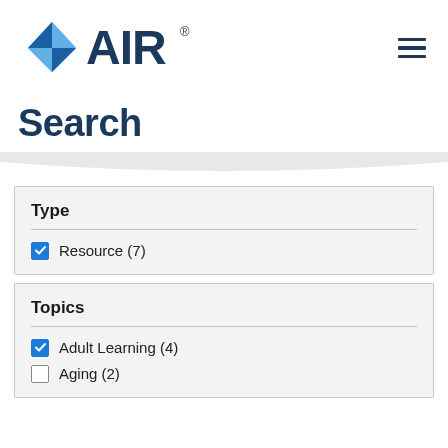[Figure (logo): AIR (American Institutes for Research) logo with blue diamond shape and AIR text in dark blue]
Search
Type
Resource (7)
Topics
Adult Learning (4)
Aging (2)